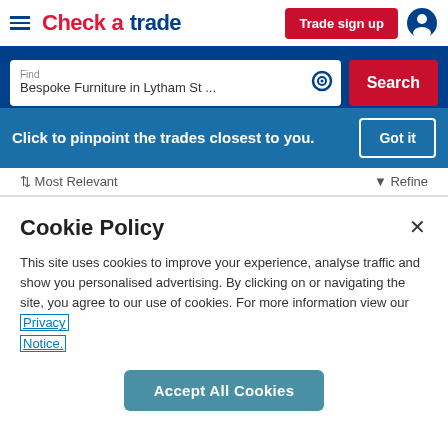[Figure (screenshot): Checkatrade website header with hamburger menu, logo, Trade sign up button, and user icon]
[Figure (screenshot): Search bar showing 'Find Bespoke Furniture in Lytham St ...' with location icon and red Search button]
[Figure (screenshot): Blue pinpoint banner: 'Click to pinpoint the trades closest to you.' with Got it button]
[Figure (screenshot): Sort bar showing 'Most Relevant' and 'Refine' options]
Cookie Policy
This site uses cookies to improve your experience, analyse traffic and show you personalised advertising. By clicking on or navigating the site, you agree to our use of cookies. For more information view our Privacy Notice.
Accept All Cookies